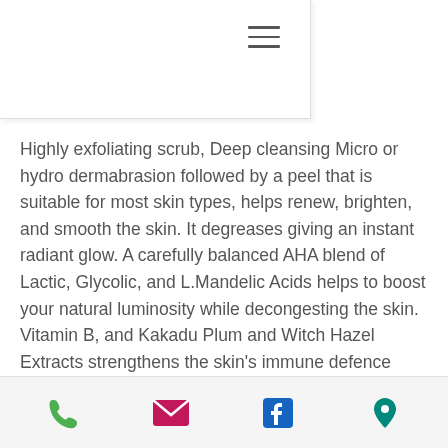Highly exfoliating scrub, Deep cleansing Micro or hydro dermabrasion followed by a peel that is suitable for most skin types, helps renew, brighten, and smooth the skin. It degreases giving an instant radiant glow. A carefully balanced AHA blend of Lactic, Glycolic, and L.Mandelic Acids helps to boost your natural luminosity while decongesting the skin. Vitamin B, and Kakadu Plum and Witch Hazel Extracts strengthens the skin's immune defence while Canadian Willowherb is a powerful anti-inflammatory to soothe and calm.
A dermabrasion is conducted before the peel so there is an element of sting but nothing too serious. You may experience some light shedding...